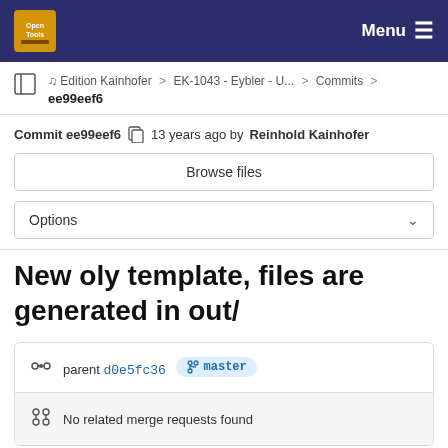Menu
Edition Kainhofer > EK-1043 - Eybler - U... > Commits > ee99eef6
Commit ee99eef6  13 years ago by Reinhold Kainhofer
Browse files
Options
New oly template, files are generated in out/
parent d0e5fc36  master
No related merge requests found